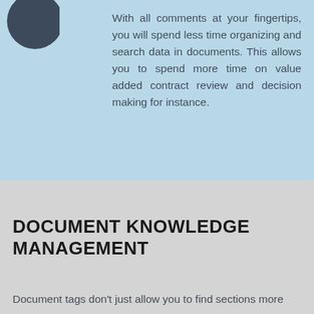[Figure (illustration): Partial dark circular icon at top-left corner on light blue background]
With all comments at your fingertips, you will spend less time organizing and search data in documents. This allows you to spend more time on value added contract review and decision making for instance.
DOCUMENT KNOWLEDGE MANAGEMENT
Document tags don't just allow you to find sections more